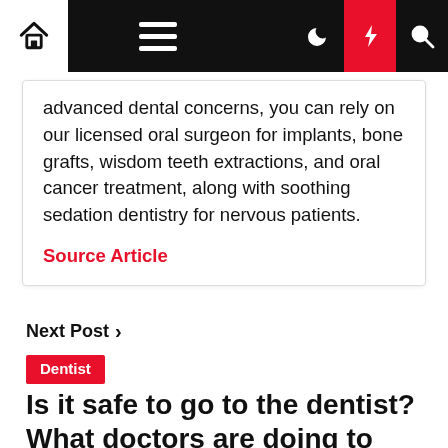[Figure (screenshot): Website navigation bar with home icon, hamburger menu, moon/dark-mode icon, lightning bolt (red background), and search icon]
advanced dental concerns, you can rely on our licensed oral surgeon for implants, bone grafts, wisdom teeth extractions, and oral cancer treatment, along with soothing sedation dentistry for nervous patients.
Source Article
Next Post >
Dentist
Is it safe to go to the dentist? What doctors are doing to prevent the spread of the